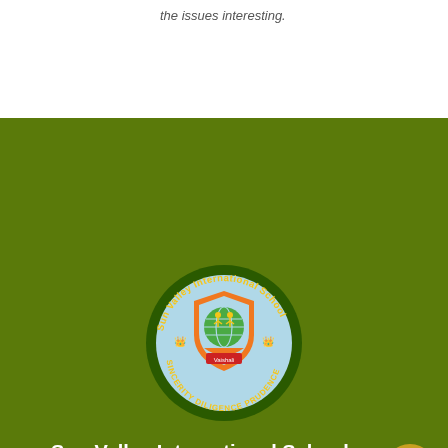the issues interesting.
[Figure (logo): Sun Valley International School circular logo with shield, globe, children figures, and motto 'Sincerity Diligence Prudence' on dark green background]
Sun Valley International School
Phone : 0120-4151531,32,33, 9810234238
Website: www.sunvalleyncr.in